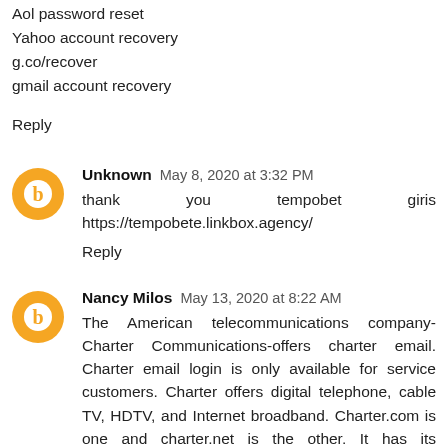Aol password reset
Yahoo account recovery
g.co/recover
gmail account recovery
Reply
Unknown  May 8, 2020 at 3:32 PM
thank you tempobet giris https://tempobete.linkbox.agency/
Reply
Nancy Milos  May 13, 2020 at 8:22 AM
The American telecommunications company-Charter Communications-offers charter email. Charter email login is only available for service customers. Charter offers digital telephone, cable TV, HDTV, and Internet broadband. Charter.com is one and charter.net is the other. It has its headquarters in Stamford, Connecticut, US. Thomas M. Rutledge is the chairman and CEO. Barry Babcock, Jerald Kent and Howard Wood formed Charter Communications in